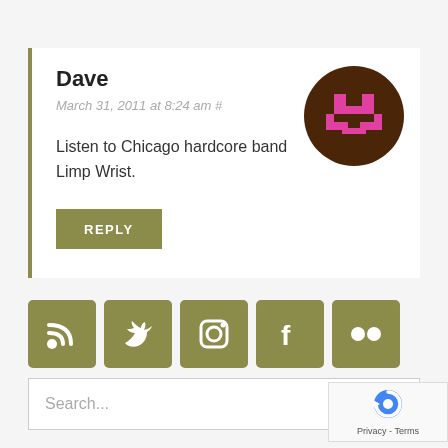Dave
March 31, 2011 at 8:24 am #
[Figure (illustration): Brown circle avatar with pink pixel-art icon resembling a game controller or hardware symbol]
Listen to Chicago hardcore band Limp Wrist.
REPLY
[Figure (infographic): Five social media icons (RSS, Twitter, Instagram, Facebook, Flickr) in olive/khaki colored square buttons]
Search...
[Figure (logo): Google reCAPTCHA badge with Privacy and Terms links]